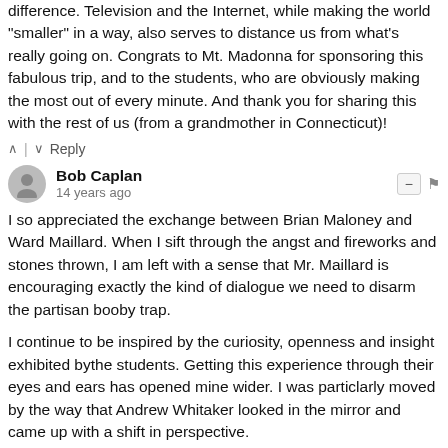difference. Television and the Internet, while making the world "smaller" in a way, also serves to distance us from what's really going on. Congrats to Mt. Madonna for sponsoring this fabulous trip, and to the students, who are obviously making the most out of every minute. And thank you for sharing this with the rest of us (from a grandmother in Connecticut)!
^ | v Reply
Bob Caplan
14 years ago
I so appreciated the exchange between Brian Maloney and Ward Maillard. When I sift through the angst and fireworks and stones thrown, I am left with a sense that Mr. Maillard is encouraging exactly the kind of dialogue we need to disarm the partisan booby trap.
I continue to be inspired by the curiosity, openness and insight exhibited bythe students. Getting this experience through their eyes and ears has opened mine wider. I was particlarly moved by the way that Andrew Whitaker looked in the mirror and came up with a shift in perspective.
I look forward to more...